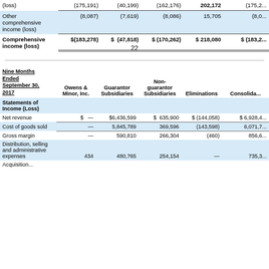|  | Owens & Minor, Inc. | Guarantor Subsidiaries | Non-guarantor Subsidiaries | Eliminations | Consolidated |
| --- | --- | --- | --- | --- | --- |
| Other comprehensive income (loss) | (8,087) | (7,619) | (8,086) | 15,705 | (8,0... |
| Comprehensive income (loss) | $(183,278) | $ (47,818) | $ (170,262) | $ 218,080 | $ (183,2... |
22
| Nine Months Ended September 30, 2017 | Owens & Minor, Inc. | Guarantor Subsidiaries | Non-guarantor Subsidiaries | Eliminations | Consolidated |
| --- | --- | --- | --- | --- | --- |
| Statements of Income (Loss) |  |  |  |  |  |
| Net revenue | $  — | $6,436,599 | $  635,900 | $ (144,058) | $ 6,928,4... |
| Cost of goods sold | — | 5,845,789 | 369,596 | (143,598) | 6,071,7... |
| Gross margin | — | 590,810 | 266,304 | (460) | 856,6... |
| Distribution, selling and administrative expenses | 434 | 480,765 | 254,154 | — | 735,3... |
| Acquisition... |  |  |  |  |  |